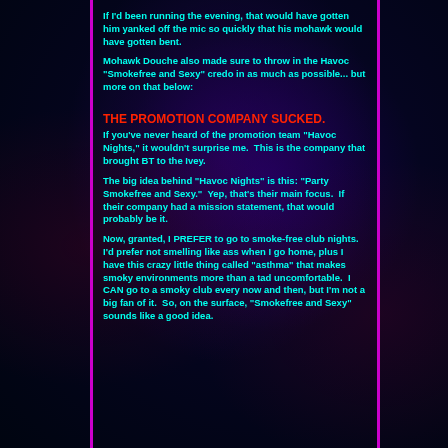If I'd been running the evening, that would have gotten him yanked off the mic so quickly that his mohawk would have gotten bent.
Mohawk Douche also made sure to throw in the Havoc "Smokefree and Sexy" credo in as much as possible... but more on that below:
THE PROMOTION COMPANY SUCKED.
If you've never heard of the promotion team "Havoc Nights," it wouldn't surprise me.  This is the company that brought BT to the Ivey.
The big idea behind "Havoc Nights" is this: "Party Smokefree and Sexy."  Yep, that's their main focus.  If their company had a mission statement, that would probably be it.
Now, granted, I PREFER to go to smoke-free club nights.  I'd prefer not smelling like ass when I go home, plus I have this crazy little thing called "asthma" that makes smoky environments more than a tad uncomfortable.  I CAN go to a smoky club every now and then, but I'm not a big fan of it.  So, on the surface, "Smokefree and Sexy" sounds like a good idea.